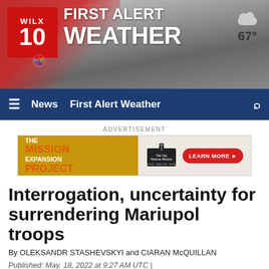[Figure (logo): WILX 10 First Alert Weather header banner with logo, weather icon showing cloud and 67 degrees temperature]
News   First Alert Weather
ADVERTISEMENT
[Figure (other): The Mission Expansion Project advertisement banner with City Rescue Mission logo and Learn More button]
Interrogation, uncertainty for surrendering Mariupol troops
By OLEKSANDR STASHEVSKYI and CIARAN McQUILLAN
Published: May. 18, 2022 at 9:27 AM UTC | Updated: May. 19, 2022 at 2:05 AM UTC